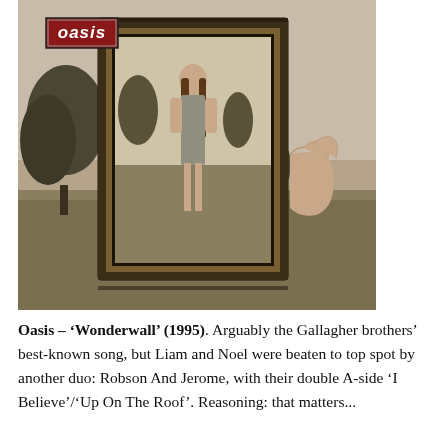[Figure (photo): Black and white / sepia-toned album cover for Oasis 'Wonderwall' (1995). Shows an ornate picture frame standing on a grass lawn outdoors, containing a portrait of a young woman with long hair wearing a short dress. Trees visible in the background. A hand holds the right side of the frame. The Oasis logo (white text on dark red rectangle) appears in the upper-left corner of the image.]
Oasis – 'Wonderwall' (1995). Arguably the Gallagher brothers' best-known song, but Liam and Noel were beaten to top spot by another duo: Robson And Jerome, with their double A-side 'I Believe'/'Up On The Roof'. Reasoning: that matters...